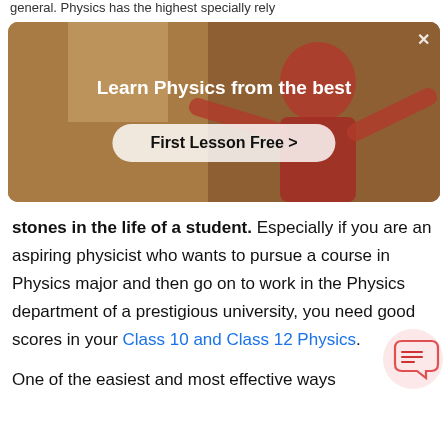general. Physics has the highest specially rely
[Figure (screenshot): Ad banner with background showing a person in a red shirt, with text 'Learn Physics from the best' and a 'First Lesson Free >' button]
stones in the life of a student. Especially if you are an aspiring physicist who wants to pursue a course in Physics major and then go on to work in the Physics department of a prestigious university, you need good scores in your Class 10 and Class 12 Physics.
One of the easiest and most effective ways